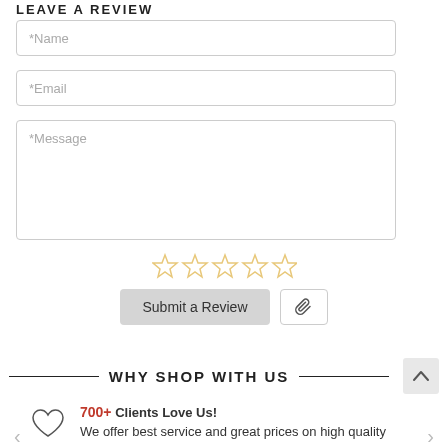LEAVE A REVIEW
*Name
*Email
*Message
[Figure (other): Five empty star rating icons in a row]
Submit a Review  [paperclip icon]
WHY SHOP WITH US
700+ Clients Love Us! We offer best service and great prices on high quality